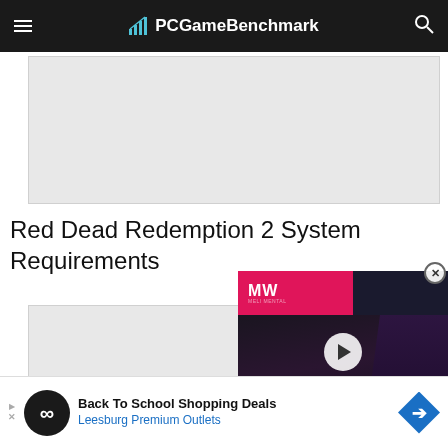PCGameBenchmark
[Figure (other): Advertisement banner placeholder (gray rectangle)]
Red Dead Redemption 2 System Requirements
[Figure (other): Second advertisement banner placeholder (gray rectangle)]
[Figure (other): Video overlay: MW logo, play button, 'BEST ZOMBIE GAMES' text with game character image]
Back To School Shopping Deals
Leesburg Premium Outlets